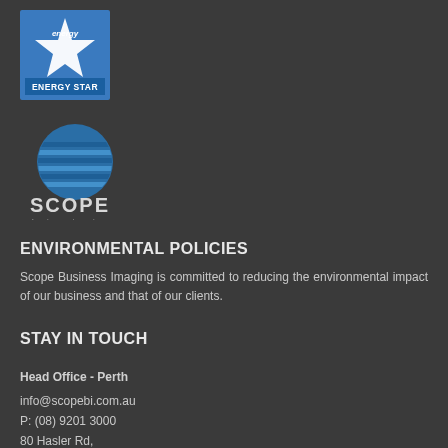[Figure (logo): ENERGY STAR logo with blue background, star graphic and 'ENERGY STAR' text]
[Figure (logo): Scope Business Imaging logo: blue circle with horizontal lines and 'SCOPE business imaging' text below]
ENVIRONMENTAL POLICIES
Scope Business Imaging is committed to reducing the environmental impact of our business and that of our clients.
STAY IN TOUCH
Head Office - Perth
info@scopebi.com.au
P: (08) 9201 3000
80 Hasler Rd,
Osborne Park